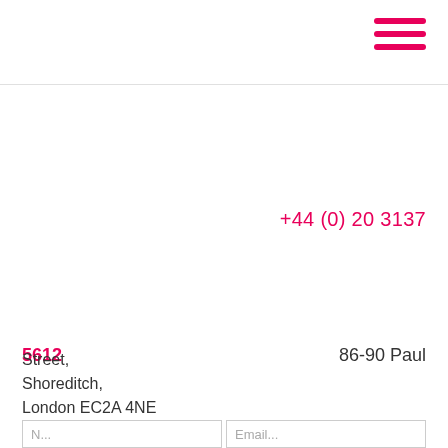[Figure (other): Hamburger menu icon made of three pink horizontal bars]
+44 (0) 20 3137
5612
86-90 Paul
Street,
Shoreditch,
London EC2A 4NE